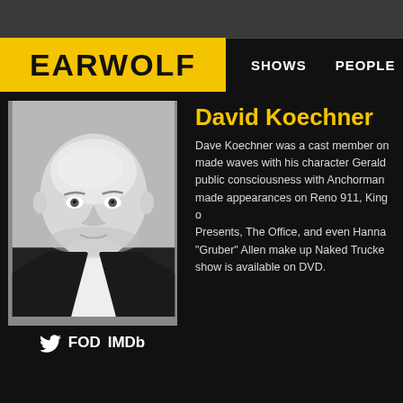EARWOLF | SHOWS | PEOPLE
[Figure (photo): Black and white headshot of David Koechner, a middle-aged bald man in a dark suit with white shirt, looking directly at camera]
FOD IMDb
David Koechner
Dave Koechner was a cast member on... made waves with his character Gerald... public consciousness with Anchorman... made appearances on Reno 911, King o... Presents, The Office, and even Hanna... "Gruber" Allen make up Naked Trucke... show is available on DVD.